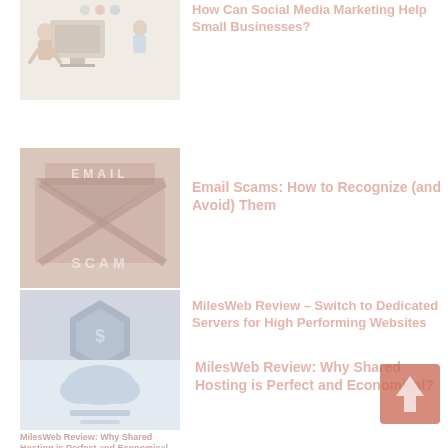[Figure (illustration): Thumbnail image showing people at computers (social media marketing illustration)]
How Can Social Media Marketing Help Small Businesses?
[Figure (illustration): Email scam thumbnail with envelope and SCAM text in red/brown tones]
Email Scams: How to Recognize (and Avoid) Them
[Figure (illustration): MilesWeb Review thumbnail with server/shield icon and text about dedicated servers]
MilesWeb Review – Switch to Dedicated Servers for High Performing Websites
[Figure (illustration): MilesWeb shared hosting thumbnail with cloud icon]
MilesWeb Review: Why Shared Hosting is Perfect and Economical?
[Figure (illustration): Small thumbnail of MilesWeb shared hosting article at bottom left]
MilesWeb Review: Why Shared Hosting is Perfect and Economical